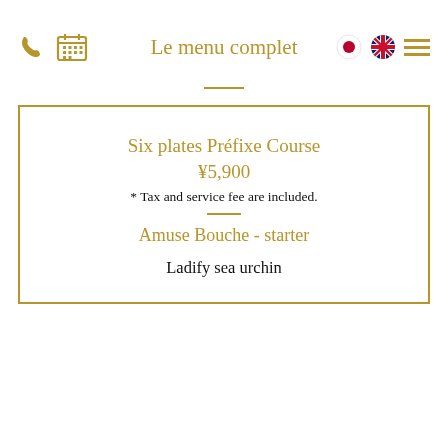Le menu complet
Six plates Préfixe Course
¥5,900
* Tax and service fee are included.
Amuse Bouche - starter
Ladify sea urchin